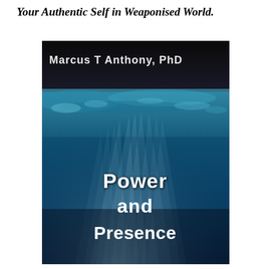Your Authentic Self in Weaponised World.
[Figure (illustration): Book cover for 'Power and Presence' by Marcus T Anthony, PhD. The cover features an underwater ocean scene with light rays filtering through deep blue water from the surface. The top portion has a dark black band with the author name 'Marcus T Anthony, PhD' in white text. The main title 'Power and Presence' is displayed in large white futuristic font on the right side of the underwater image.]